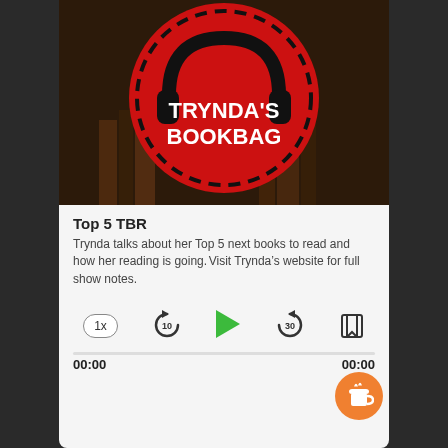[Figure (logo): Trynda's Bookbag podcast logo: red circle with dashed border, black headphones, white bold text 'TRYNDA'S BOOKBAG' on a dark background with books]
Top 5 TBR
Trynda talks about her Top 5 next books to read and how her reading is going. Visit Trynda’s website for full show notes.
1x  [rewind 10]  [play]  [forward 30]  [share]
00:00   00:00